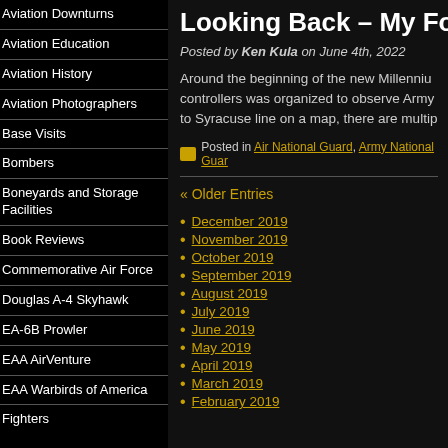Aviation Downturns
Aviation Education
Aviation History
Aviation Photographers
Base Visits
Bombers
Boneyards and Storage Facilities
Book Reviews
Commemorative Air Force
Douglas A-4 Skyhawk
EA-6B Prowler
EAA AirVenture
EAA Warbirds of America
Fighters
Looking Back – My Fort
Posted by Ken Kula on June 4th, 2022
Around the beginning of the new Millenniu... controllers was organized to observe Army ... to Syracuse line on a map, there are multip...
Posted in Air National Guard, Army National Guar...
« Older Entries
December 2019
November 2019
October 2019
September 2019
August 2019
July 2019
June 2019
May 2019
April 2019
March 2019
February 2019